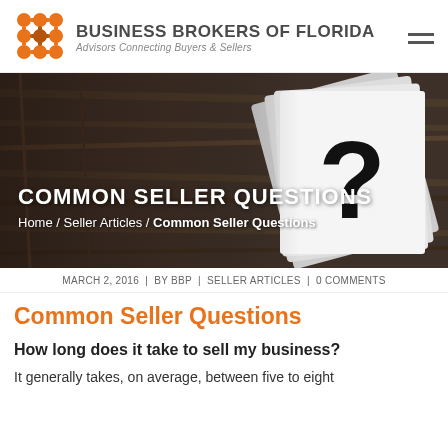BUSINESS BROKERS OF FLORIDA — Advisors Connecting Buyers & Sellers
[Figure (photo): Dark wood background with a stack of white paper cards, top card shows a large question mark. Text overlay reads 'COMMON SELLER QUESTIONS' with breadcrumb 'Home / Seller Articles / Common Seller Questions']
MARCH 2, 2016 | BY BBP | SELLER ARTICLES | 0 COMMENTS
Common Seller Questions
How long does it take to sell my business?
It generally takes, on average, between five to eight